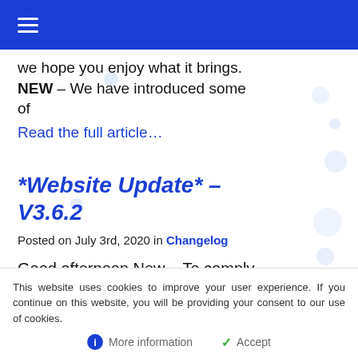≡ (hamburger menu)
we hope you enjoy what it brings. NEW – We have introduced some of
Read the full article…
*Website Update* – V3.6.2
Posted on July 3rd, 2020 in Changelog
Good afternoon New – To comply
This website uses cookies to improve your user experience. If you continue on this website, you will be providing your consent to our use of cookies.
More information
Accept